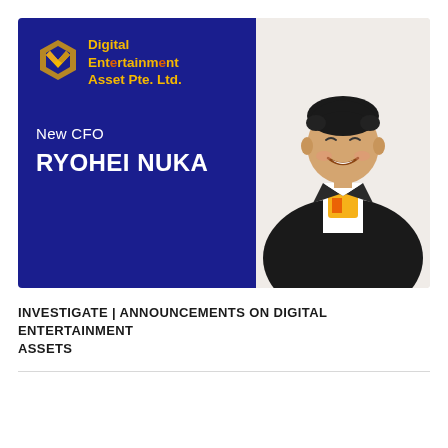[Figure (illustration): Composite image: left side shows a dark blue panel with Digital Entertainment Asset Pte. Ltd. logo (gold diamond/hexagon icon) and text 'New CFO RYOHEI NUKA' in white. Right side shows a photo of a smiling Asian man in a black blazer over a white and orange graphic t-shirt.]
INVESTIGATE | ANNOUNCEMENTS ON DIGITAL ENTERTAINMENT ASSETS